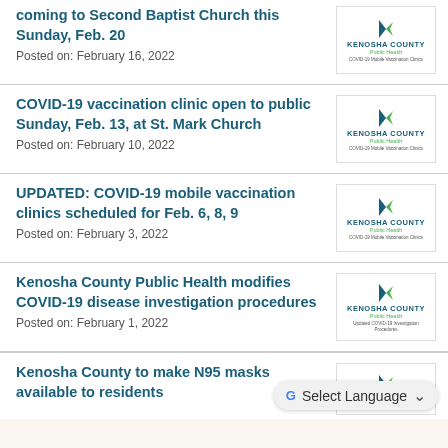coming to Second Baptist Church this Sunday, Feb. 20
Posted on: February 16, 2022
COVID-19 vaccination clinic open to public Sunday, Feb. 13, at St. Mark Church
Posted on: February 10, 2022
UPDATED: COVID-19 mobile vaccination clinics scheduled for Feb. 6, 8, 9
Posted on: February 3, 2022
Kenosha County Public Health modifies COVID-19 disease investigation procedures
Posted on: February 1, 2022
Kenosha County to make N95 masks available to residents